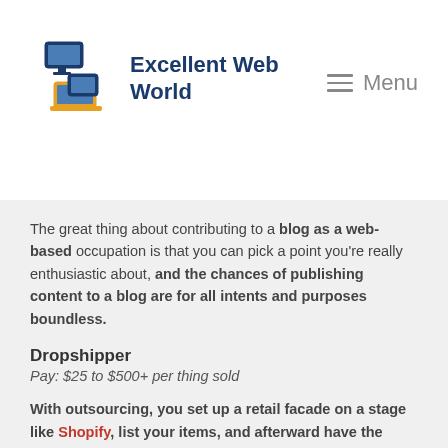Excellent Web World — Menu
The great thing about contributing to a blog as a web-based occupation is that you can pick a point you're really enthusiastic about, and the chances of publishing content to a blog are for all intents and purposes boundless.
Dropshipper
Pay: $25 to $500+ per thing sold
With outsourcing, you set up a retail facade on a stage like Shopify, list your items, and afterward have the orders